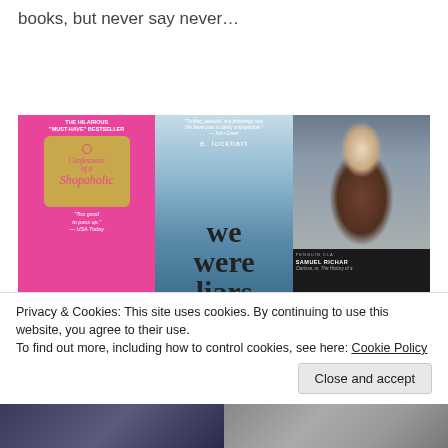books, but never say never…
[Figure (photo): Three book covers side by side: Confessions of a Shopaholic (pink cover), We Were Liars by e. lockhart (blue/ocean cover), and a Samuel Richardson classic (portrait painting cover with black bottom band).]
Privacy & Cookies: This site uses cookies. By continuing to use this website, you agree to their use.
To find out more, including how to control cookies, see here: Cookie Policy
Close and accept
[Figure (screenshot): Bottom strip showing partial images — a dark blue toned image on the left and a grey/muted image on the right.]